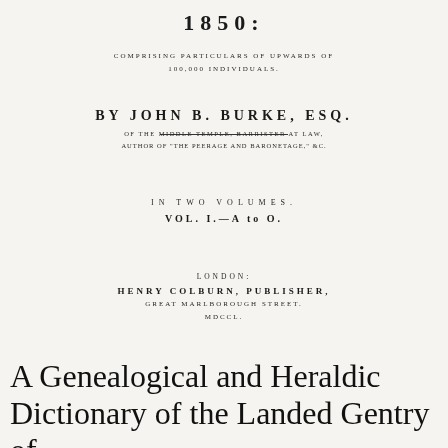1850:
COMPRISING PARTICULARS OF UPWARDS OF 100,000 INDIVIDUALS.
BY JOHN B. BURKE, ESQ.
OF THE MIDDLE TEMPLE, BARRISTER AT LAW, AUTHOR OF "THE PEERAGE AND BARONETAGE," &c.
IN TWO VOLUMES.
VOL. I.—A to O.
LONDON: HENRY COLBURN, PUBLISHER, GREAT MARLBOROUGH STREET. MDCCL.
A Genealogical and Heraldic Dictionary of the Landed Gentry of